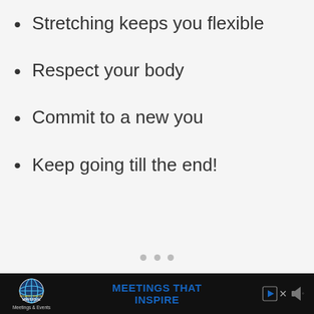Stretching keeps you flexible
Respect your body
Commit to a new you
Keep going till the end!
[Figure (other): Advertisement banner: Universal Orlando Resort Meetings & Events — MEETINGS THAT INSPIRE]